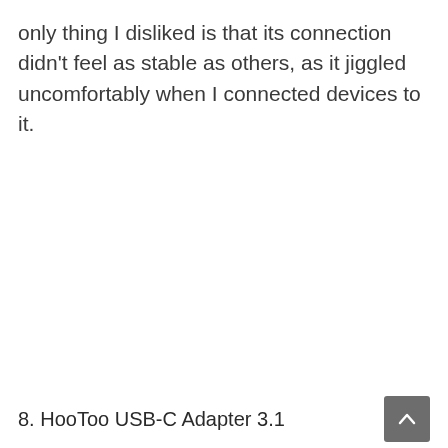only thing I disliked is that its connection didn't feel as stable as others, as it jiggled uncomfortably when I connected devices to it.
8. HooToo USB-C Adapter 3.1